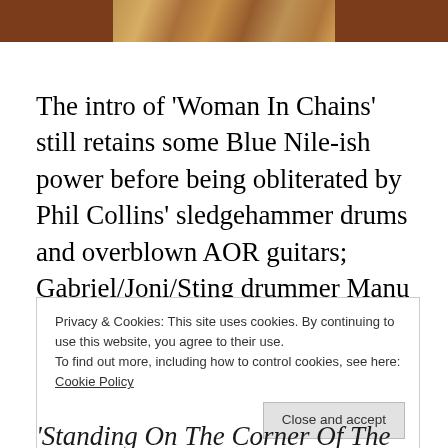[Figure (photo): Partial image strip showing a colorful illustration/album art on a brown/dark background at top of page]
The intro of ‘Woman In Chains’ still retains some Blue Nile-ish power before being obliterated by Phil Collins’ sledgehammer drums and overblown AOR guitars; Gabriel/Joni/Sting drummer Manu Katche plays a blinder on ‘Badman’s Song’ but the melodies barely register.
Privacy & Cookies: This site uses cookies. By continuing to use this website, you agree to their use.
To find out more, including how to control cookies, see here: Cookie Policy
[Close and accept button]
‘Standing On The Corner Of The Third World’ is initially